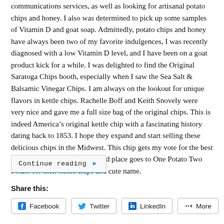communications services, as well as looking for artisanal potato chips and honey. I also was determined to pick up some samples of Vitamin D and goat soap. Admittedly, potato chips and honey have always been two of my favorite indulgences, I was recently diagnosed with a low Vitamin D level, and I have been on a goat product kick for a while. I was delighted to find the Original Saratoga Chips booth, especially when I saw the Sea Salt & Balsamic Vinegar Chips. I am always on the lookout for unique flavors in kettle chips. Rachelle Boff and Keith Snovely were very nice and gave me a full size bag of the original chips. This is indeed America’s original kettle chip with a fascinating history dating back to 1853. I hope they expand and start selling these delicious chips in the Midwest. This chip gets my vote for the best of show in this category. Second place goes to One Potato Two Potato for their kettle chips and cute name.
Continue reading ►
Share this:
Facebook
Twitter
LinkedIn
More